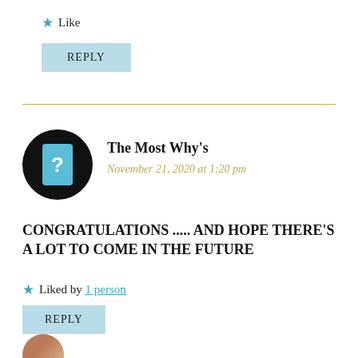Like
REPLY
The Most Why's
November 21, 2020 at 1:20 pm
CONGRATULATIONS ..... AND HOPE THERE'S A LOT TO COME IN THE FUTURE
Liked by 1 person
REPLY